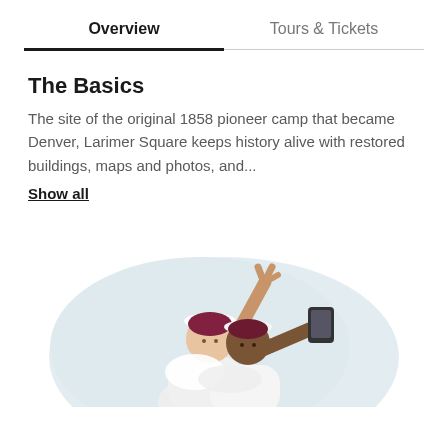Overview | Tours & Tickets
The Basics
The site of the original 1858 pioneer camp that became Denver, Larimer Square keeps history alive with restored buildings, maps and photos, and...
Show all
[Figure (illustration): Two illustrated figures taking a selfie — one raising a peace sign with their hand, the other holding a smartphone — in front of a soft light-blue rounded background shape.]